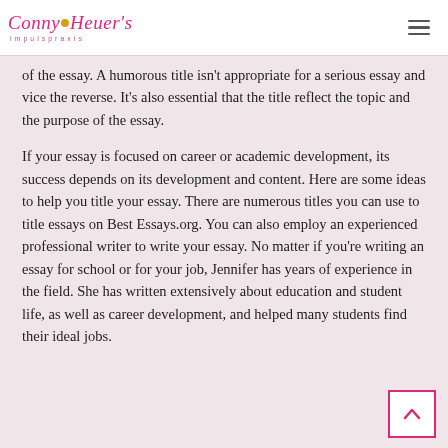Conny Heuer's Impulspraxis
of the essay. A humorous title isn't appropriate for a serious essay and vice the reverse. It's also essential that the title reflect the topic and the purpose of the essay.
If your essay is focused on career or academic development, its success depends on its development and content. Here are some ideas to help you title your essay. There are numerous titles you can use to title essays on Best Essays.org. You can also employ an experienced professional writer to write your essay. No matter if you're writing an essay for school or for your job, Jennifer has years of experience in the field. She has written extensively about education and student life, as well as career development, and helped many students find their ideal jobs.